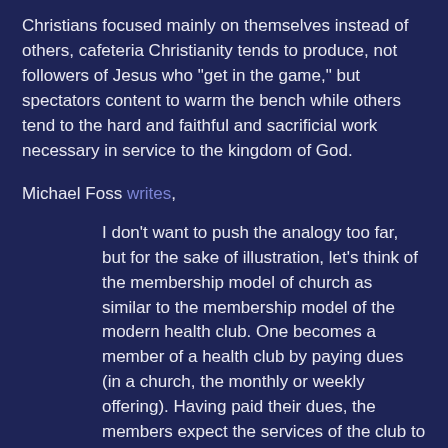Christians focused mainly on themselves instead of others, cafeteria Christianity tends to produce, not followers of Jesus who "get in the game," but spectators content to warm the bench while others tend to the hard and faithful and sacrificial work necessary in service to the kingdom of God.
Michael Foss writes,
I don't want to push the analogy too far, but for the sake of illustration, let's think of the membership model of church as similar to the membership model of the modern health club. One becomes a member of a health club by paying dues (in a church, the monthly or weekly offering). Having paid their dues, the members expect the services of the club to be at their disposal. Exercise equipment, weight room, aerobics classes, an indoor track, swimming pool—all there for them, with a trained staff to see that they benefit by them. Members may bring a guest on occasion, but only those who pay their dues have a right to the use of the facilities and the attention of the staff. The minister's job is